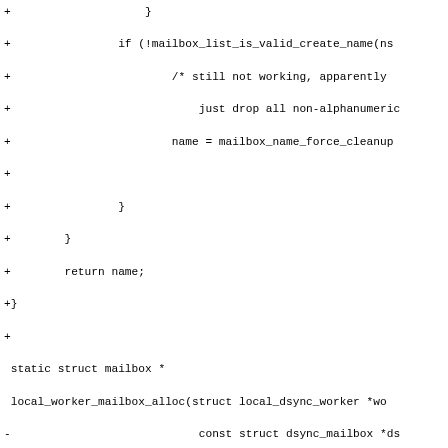[Figure (other): Source code diff showing C code for mailbox allocation functions, with added (+) and removed (-) lines in a monospace font.]